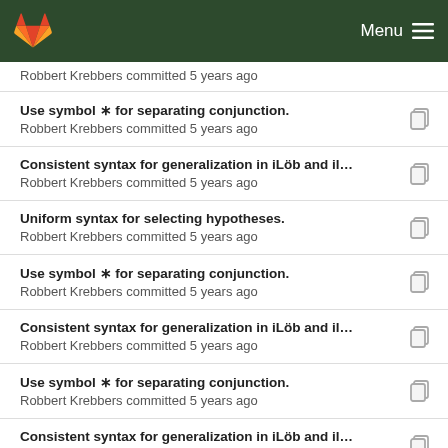Menu
Robbert Krebbers committed 5 years ago
Use symbol ∗ for separating conjunction.
Robbert Krebbers committed 5 years ago
Consistent syntax for generalization in iLöb and il...
Robbert Krebbers committed 5 years ago
Uniform syntax for selecting hypotheses.
Robbert Krebbers committed 5 years ago
Use symbol ∗ for separating conjunction.
Robbert Krebbers committed 5 years ago
Consistent syntax for generalization in iLöb and il...
Robbert Krebbers committed 5 years ago
Use symbol ∗ for separating conjunction.
Robbert Krebbers committed 5 years ago
Consistent syntax for generalization in iLöb and il...
Robbert Krebbers committed 5 years ago